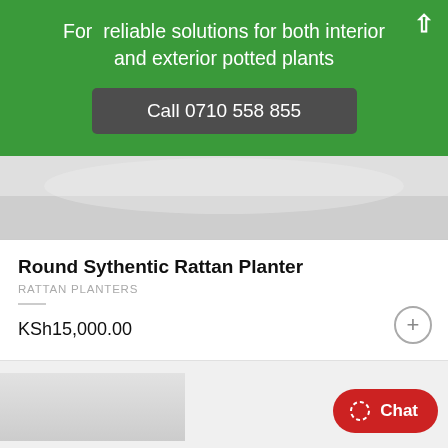For reliable solutions for both interior and exterior potted plants
Call 0710 558 855
[Figure (photo): Partial product image strip showing a light grey background, likely a rattan planter product photo cropped at top]
Round Sythentic Rattan Planter
RATTAN PLANTERS
KSh15,000.00
[Figure (photo): Bottom portion of page showing partial next product image and a red Chat button]
Chat